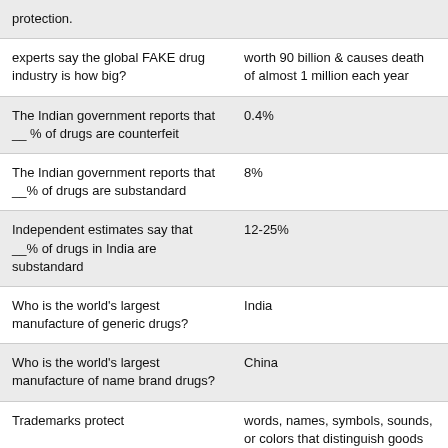| Question | Answer |
| --- | --- |
| protection. |  |
| experts say the global FAKE drug industry is how big? | worth 90 billion & causes death of almost 1 million each year |
| The Indian government reports that __% of drugs are counterfeit | 0.4% |
| The Indian government reports that __% of drugs are substandard | 8% |
| Independent estimates say that __% of drugs in India are substandard | 12-25% |
| Who is the world's largest manufacture of generic drugs? | India |
| Who is the world's largest manufacture of name brand drugs? | China |
| Trademarks protect | words, names, symbols, sounds, or colors that distinguish goods and services from those manufactured or |